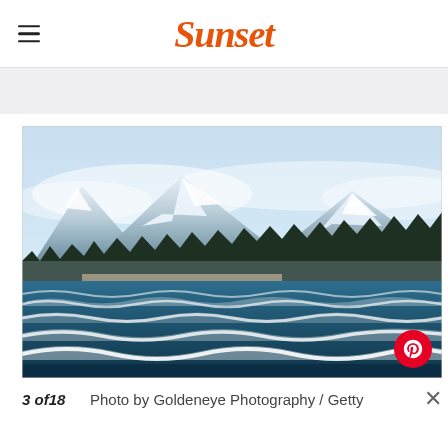Sunset
[Figure (photo): Ocean waves with mountain peaks in background covered in snow and mist, conifer forest line in midground, blue-green water with whitecaps in foreground. Pinterest button overlay in bottom right corner.]
3 of18   Photo by Goldeneye Photography / Getty